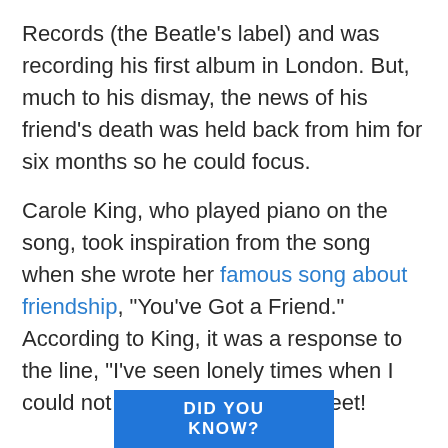Records (the Beatle's label) and was recording his first album in London. But, much to his dismay, the news of his friend's death was held back from him for six months so he could focus.
Carole King, who played piano on the song, took inspiration from the song when she wrote her famous song about friendship, “You’ve Got a Friend.” According to King, it was a response to the line, “I’ve seen lonely times when I could not find a friend.” How sweet!
DID YOU KNOW?